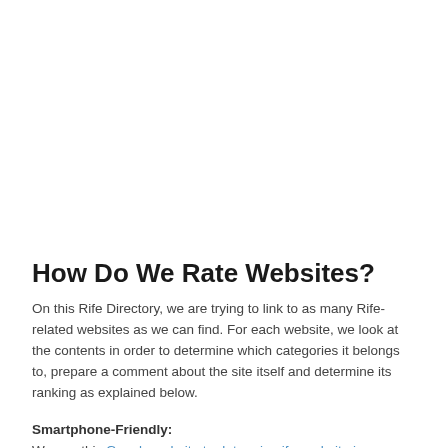How Do We Rate Websites?
On this Rife Directory, we are trying to link to as many Rife-related websites as we can find. For each website, we look at the contents in order to determine which categories it belongs to, prepare a comment about the site itself and determine its ranking as explained below.
Smartphone-Friendly: We use this Google website to determine if a website is "smartphone-friendly". One Star is added for smartphone friendly